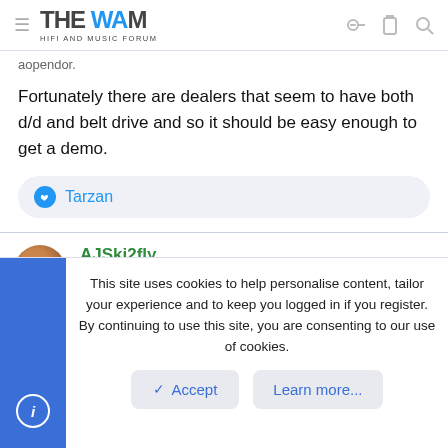THE WAM HIFI AND MUSIC FORUM
aopendor.
Fortunately there are dealers that seem to have both d/d and belt drive and so it should be easy enough to get a demo.
👍 Tarzan
AJSki2fly
Wammer  Wammer
This site uses cookies to help personalise content, tailor your experience and to keep you logged in if you register.
By continuing to use this site, you are consenting to our use of cookies.
✓ Accept   Learn more...